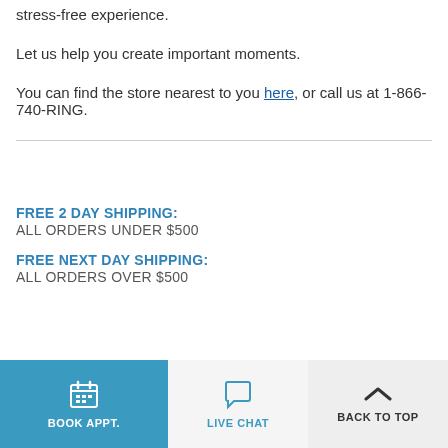stress-free experience.
Let us help you create important moments.
You can find the store nearest to you here, or call us at 1-866-740-RING.
FREE 2 DAY SHIPPING: ALL ORDERS UNDER $500
FREE NEXT DAY SHIPPING: ALL ORDERS OVER $500
BOOK APPT.  LIVE CHAT  BACK TO TOP